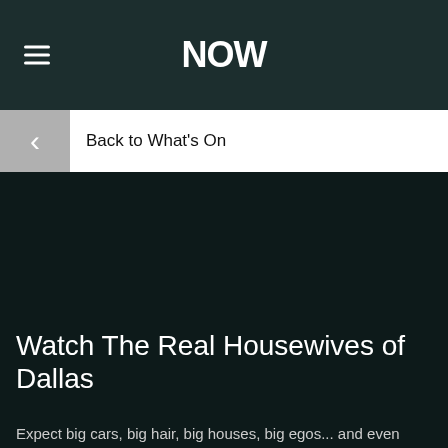NOW
Back to What's On
[Figure (screenshot): Dark nearly black background area representing a video or image placeholder for The Real Housewives of Dallas]
Watch The Real Housewives of Dallas
Expect big cars, big hair, big houses, big egos... and even